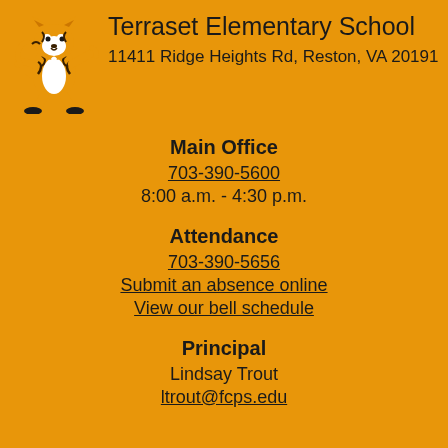[Figure (illustration): Tiger mascot cartoon illustration standing on two legs, orange and black striped tiger with white belly.]
Terraset Elementary School
11411 Ridge Heights Rd, Reston, VA 20191
Main Office
703-390-5600
8:00 a.m. - 4:30 p.m.
Attendance
703-390-5656
Submit an absence online
View our bell schedule
Principal
Lindsay Trout
ltrout@fcps.edu